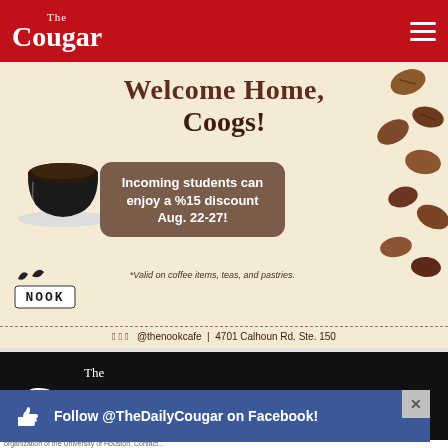The Cougar
[Figure (photo): Nook Cafe advertisement: 'Welcome Home, Coogs!' with coffee cup, coffee beans, discount offer for incoming students (15% off Aug 22-27), Nook Cafe logo, social media handles @thenookcafe, address 4701 Calhoun Rd. Ste. 150]
[Figure (logo): The Cougar newspaper logo on black background]
Follow @TheDailyCougar on Facebook!